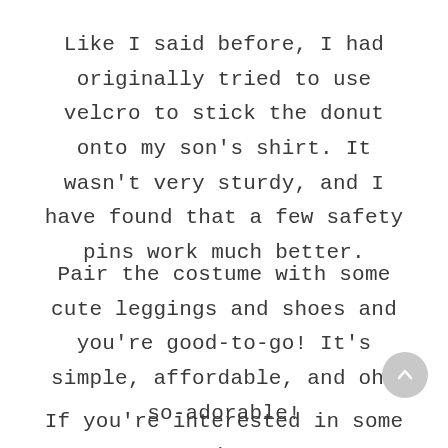Like I said before, I had originally tried to use velcro to stick the donut onto my son's shirt. It wasn't very sturdy, and I have found that a few safety pins work much better.
Pair the costume with some cute leggings and shoes and you're good-to-go! It's simple, affordable, and oh-so-adorable!
If you're interested in some other